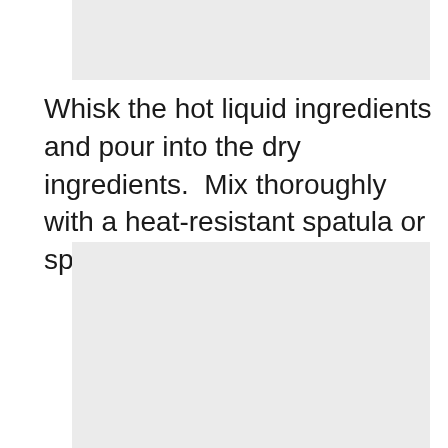[Figure (photo): Top image placeholder, light gray background]
Whisk the hot liquid ingredients and pour into the dry ingredients.  Mix thoroughly with a heat-resistant spatula or spoon.
[Figure (photo): Bottom image placeholder, light gray background]